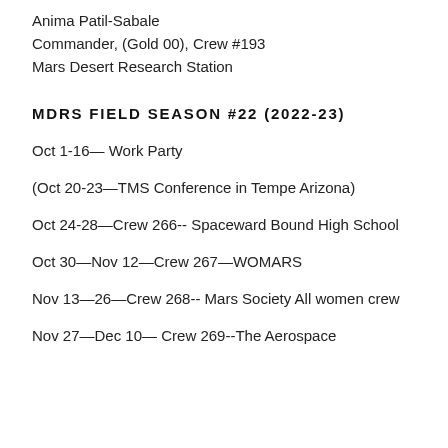Anima Patil-Sabale
Commander, (Gold 00), Crew #193
Mars Desert Research Station
MDRS FIELD SEASON #22 (2022-23)
Oct 1-16— Work Party
(Oct 20-23—TMS Conference in Tempe Arizona)
Oct 24-28—Crew 266-- Spaceward Bound High School
Oct 30—Nov 12—Crew 267—WOMARS
Nov 13—26—Crew 268-- Mars Society All women crew
Nov 27—Dec 10— Crew 269--The Aerospace